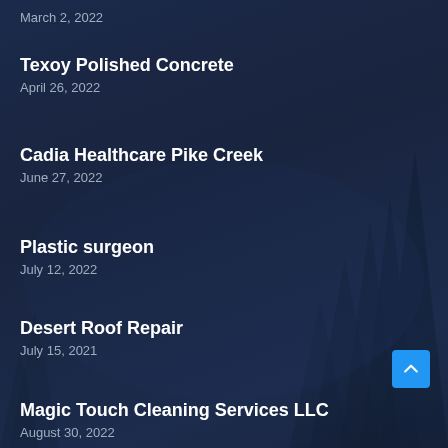March 2, 2022
Texoy Polished Concrete
April 26, 2022
Cadia Healthcare Pike Creek
June 27, 2022
Plastic surgeon
July 12, 2022
Desert Roof Repair
July 15, 2021
Magic Touch Cleaning Services LLC
August 30, 2022